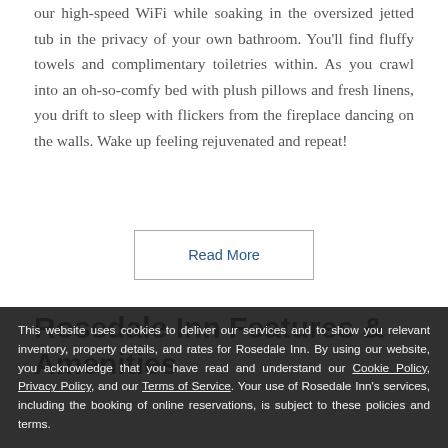our high-speed WiFi while soaking in the oversized jetted tub in the privacy of your own bathroom. You'll find fluffy towels and complimentary toiletries within. As you crawl into an oh-so-comfy bed with plush pillows and fresh linens, you drift to sleep with flickers from the fireplace dancing on the walls. Wake up feeling rejuvenated and repeat!
Read More
Rosedale Inn Features & Amenities
This website uses cookies to deliver our services and to show you relevant inventory, property details, and rates for Rosedale Inn. By using our website, you acknowledge that you have read and understand our Cookie Policy, Privacy Policy, and our Terms of Service. Your use of Rosedale Inn's services, including the booking of online reservations, is subject to these policies and terms.